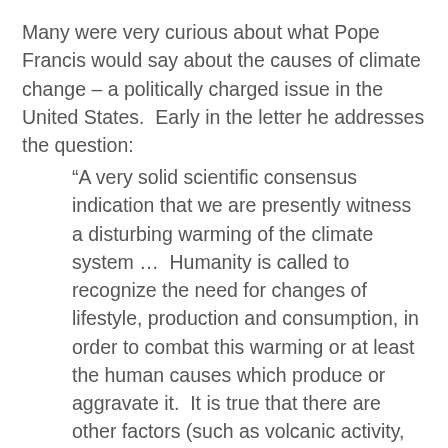Many were very curious about what Pope Francis would say about the causes of climate change – a politically charged issue in the United States.  Early in the letter he addresses the question:
“A very solid scientific consensus indication that we are presently witness a disturbing warming of the climate system …  Humanity is called to recognize the need for changes of lifestyle, production and consumption, in order to combat this warming or at least the human causes which produce or aggravate it.  It is true that there are other factors (such as volcanic activity, variations in the earth’s orbit and axis, the solar cycle), yet a number of scientific studies indicate that most global